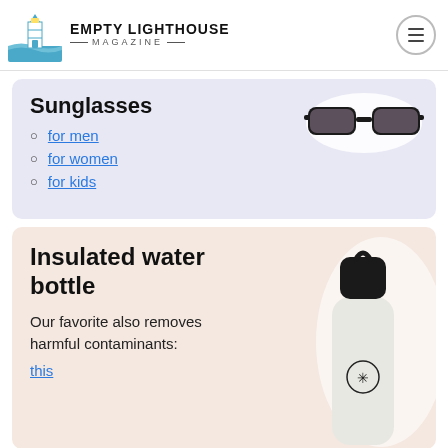EMPTY LIGHTHOUSE MAGAZINE
Sunglasses
for men
for women
for kids
Insulated water bottle
Our favorite also removes harmful contaminants: this